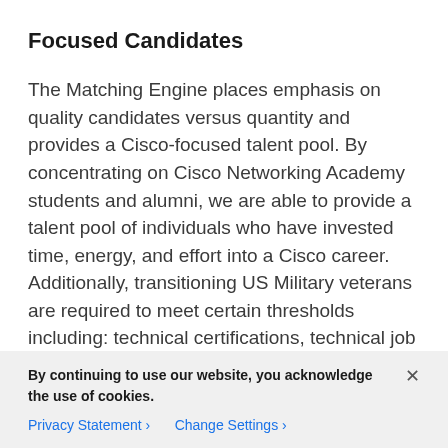Focused Candidates
The Matching Engine places emphasis on quality candidates versus quantity and provides a Cisco-focused talent pool. By concentrating on Cisco Networking Academy students and alumni, we are able to provide a talent pool of individuals who have invested time, energy, and effort into a Cisco career. Additionally, transitioning US Military veterans are required to meet certain thresholds including: technical certifications, technical job experience, and/or have an associate's degree. By providing this caliber of
By continuing to use our website, you acknowledge the use of cookies.
Privacy Statement > Change Settings >